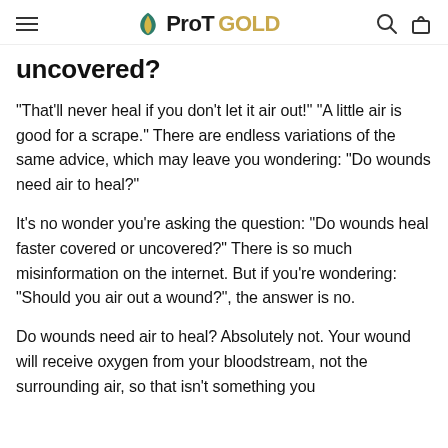ProTGOLD
uncovered?
“That’ll never heal if you don’t let it air out!” “A little air is good for a scrape.” There are endless variations of the same advice, which may leave you wondering: “Do wounds need air to heal?”
It’s no wonder you’re asking the question: “Do wounds heal faster covered or uncovered?” There is so much misinformation on the internet. But if you’re wondering: “Should you air out a wound?”, the answer is no.
Do wounds need air to heal? Absolutely not. Your wound will receive oxygen from your bloodstream, not the surrounding air, so that isn’t something you